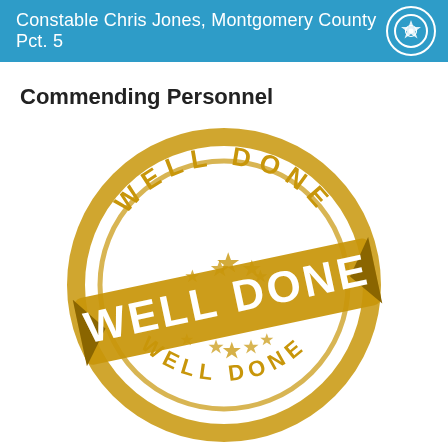Constable Chris Jones, Montgomery County Pct. 5
Commending Personnel
[Figure (illustration): A gold/yellow rubber stamp graphic with circular border reading 'WELL DONE' around the top and 'WELL DONE' around the bottom, with stars in the center circle, and a bold diagonal banner across the middle reading 'WELL DONE' in large white letters on a gold background. The overall stamp has a distressed, aged appearance.]